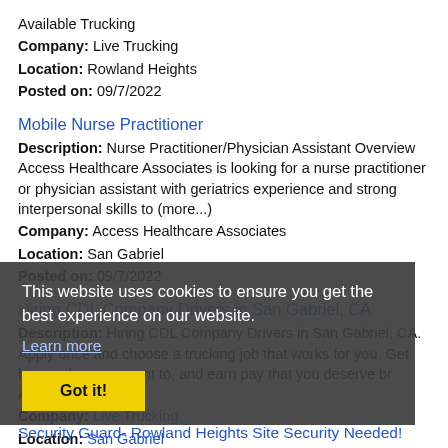Available Trucking
Company: Live Trucking
Location: Rowland Heights
Posted on: 09/7/2022
Mobile Nurse Practitioner
Description: Nurse Practitioner/Physician Assistant Overview Access Healthcare Associates is looking for a nurse practitioner or physician assistant with geriatrics experience and strong interpersonal skills to (more...)
Company: Access Healthcare Associates
Location: San Gabriel
Posted on: 09/7/2022
Hiring CDL Company Drivers in San Gabriel, CA
Description: Hiring CDL Company Drivers in San Gabriel, CA. Apply once and choose a trucking job that works for you. Get home when you want to, and earn pay that you deserve br Available Trucking
Company: Live Trucking
Location: San Gabriel
Posted on: 09/7/2022
This website uses cookies to ensure you get the best experience on our website.
Learn more
Got it!
Security Guard- Rowland Heights Site Security Needed!